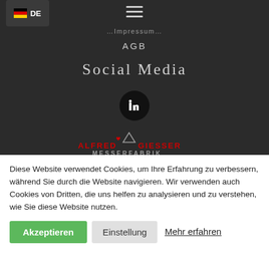[Figure (screenshot): Navigation bar with German flag and DE label, hamburger menu icon, Impressum link, AGB link]
Social Media
[Figure (logo): LinkedIn black circle icon with 'in' logo]
[Figure (logo): Alfred Giesser Messerfabrik logo with triangle and heart symbol, red brand name text]
Diese Website verwendet Cookies, um Ihre Erfahrung zu verbessern, während Sie durch die Website navigieren. Wir verwenden auch Cookies von Dritten, die uns helfen zu analysieren und zu verstehen, wie Sie diese Website nutzen.
Akzeptieren
Einstellung
Mehr erfahren